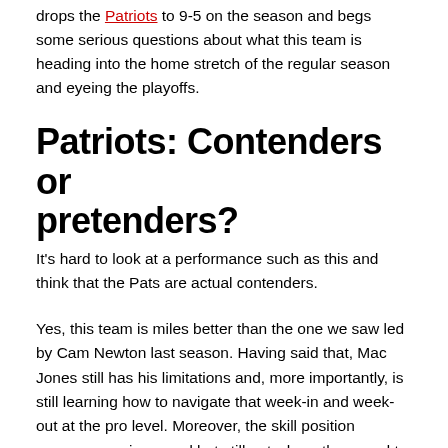drops the Patriots to 9-5 on the season and begs some serious questions about what this team is heading into the home stretch of the regular season and eyeing the playoffs.
Patriots: Contenders or pretenders?
It's hard to look at a performance such as this and think that the Pats are actual contenders.
Yes, this team is miles better than the one we saw led by Cam Newton last season. Having said that, Mac Jones still has his limitations and, more importantly, is still learning how to navigate that week-in and week-out at the pro level. Moreover, the skill position weapons are improved but still not where they need to be.